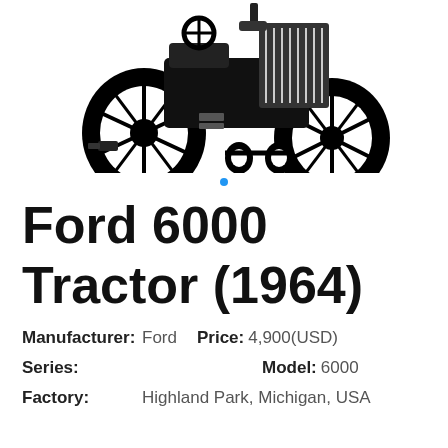[Figure (illustration): Black and white illustration of a Ford 6000 tractor viewed from a front-side angle, showing large rear wheels, engine hood with grille, and front axle detail.]
Ford 6000 Tractor (1964)
Manufacturer: Ford   Price: 4,900(USD)
Series:   Model: 6000
Factory: Highland Park, Michigan, USA